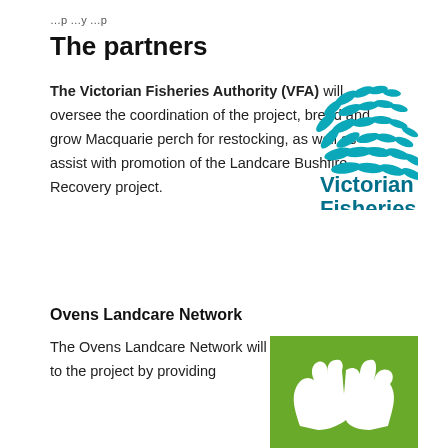…p …y …p
The partners
The Victorian Fisheries Authority (VFA) will oversee the coordination of the project, breed and grow Macquarie perch for restocking, as well as assist with promotion of the Landcare Bushfire Recovery project.
[Figure (logo): Victorian Fisheries Authority logo — school of teal/turquoise fish arranged in a swirling pattern, with bold teal text 'Victorian Fisheries' and smaller text 'AUTHORITY']
Ovens Landcare Network
The Ovens Landcare Network will contribute to the project by providing
[Figure (logo): Ovens Landcare Network logo — green square background with white silhouette of two hands forming a heart/cupping shape around a landscape/tree motif]